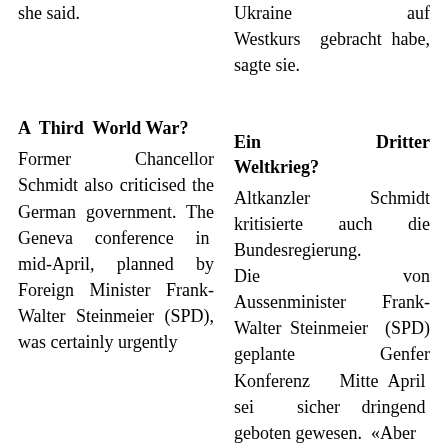she said.
Ukraine auf Westkurs gebracht habe, sagte sie.
A Third World War?
Ein Dritter Weltkrieg?
Former Chancellor Schmidt also criticised the German government. The Geneva conference in mid-April, planned by Foreign Minister Frank-Walter Steinmeier (SPD), was certainly urgently
Altkanzler Schmidt kritisierte auch die Bundesregierung. Die von Aussenminister Frank-Walter Steinmeier (SPD) geplante Genfer Konferenz Mitte April sei sicher dringend geboten gewesen. «Aber